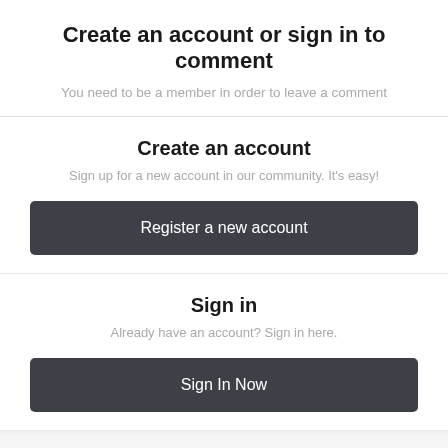Create an account or sign in to comment
You need to be a member in order to leave a comment
Create an account
Sign up for a new account in our community. It's easy!
Register a new account
Sign in
Already have an account? Sign in here.
Sign In Now
Share